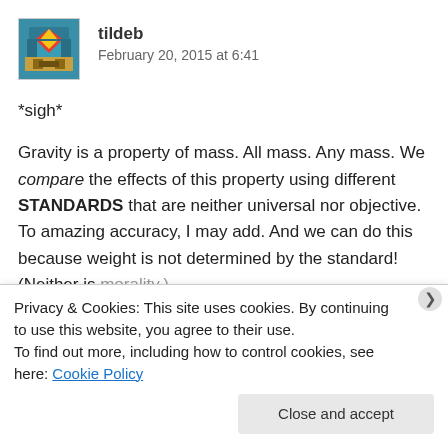[Figure (illustration): Avatar image for user tildeb — pixel art style superhero costume icon in teal/blue with red and yellow accents]
tildeb
February 20, 2015 at 6:41
*sigh*
Gravity is a property of mass. All mass. Any mass. We compare the effects of this property using different STANDARDS that are neither universal nor objective. To amazing accuracy, I may add. And we can do this because weight is not determined by the standard! (Neither is morality.)
Privacy & Cookies: This site uses cookies. By continuing to use this website, you agree to their use.
To find out more, including how to control cookies, see here: Cookie Policy
Close and accept